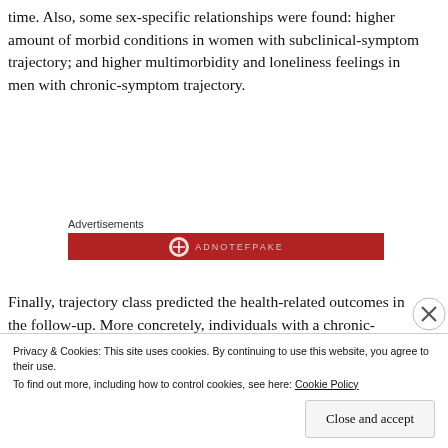time. Also, some sex-specific relationships were found: higher amount of morbid conditions in women with subclinical-symptom trajectory; and higher multimorbidity and loneliness feelings in men with chronic-symptom trajectory.
[Figure (other): Advertisements banner — red horizontal bar with a circular logo icon and gray text 'ADNOTEFPAKE']
Finally, trajectory class predicted the health-related outcomes in the follow-up. More concretely, individuals with a chronic-symptom trajectory showed the lowest levels of quality of life and satisfaction with life, and the highest
Privacy & Cookies: This site uses cookies. By continuing to use this website, you agree to their use.
To find out more, including how to control cookies, see here: Cookie Policy
Close and accept